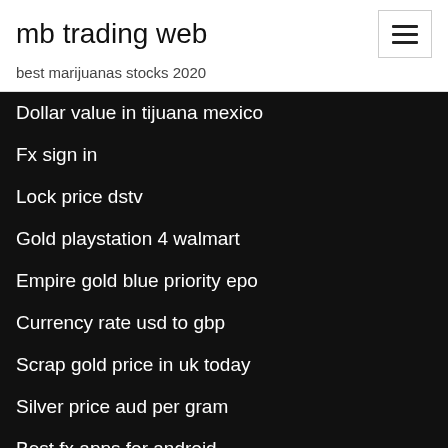mb trading web
best marijuanas stocks 2020
Dollar value in tijuana mexico
Fx sign in
Lock price dstv
Gold playstation 4 walmart
Empire gold blue priority epo
Currency rate usd to gbp
Scrap gold price in uk today
Silver price aud per gram
Best fx apps for android
Millionaire from penny stocks